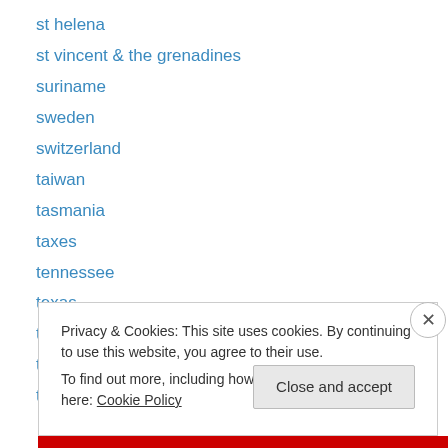st helena
st vincent & the grenadines
suriname
sweden
switzerland
taiwan
tasmania
taxes
tennessee
texas
thailand
timor-leste
tonga
Privacy & Cookies: This site uses cookies. By continuing to use this website, you agree to their use.
To find out more, including how to control cookies, see here: Cookie Policy